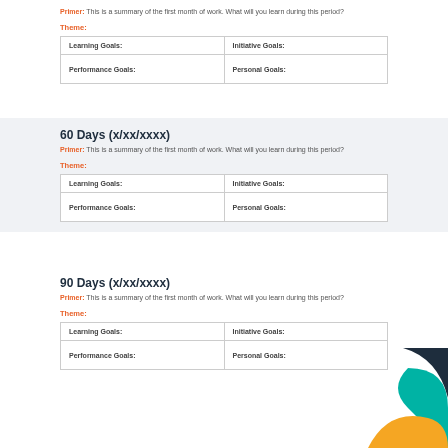Primer: This is a summary of the first month of work. What will you learn during this period?
Theme:
| Learning Goals: | Initiative Goals: |
| --- | --- |
| Performance Goals: | Personal Goals: |
60 Days (x/xx/xxxx)
Primer: This is a summary of the first month of work. What will you learn during this period?
Theme:
| Learning Goals: | Initiative Goals: |
| --- | --- |
| Performance Goals: | Personal Goals: |
90 Days (x/xx/xxxx)
Primer: This is a summary of the first month of work. What will you learn during this period?
Theme:
| Learning Goals: | Initiative Goals: |
| --- | --- |
| Performance Goals: | Personal Goals: |
[Figure (illustration): Decorative abstract shapes in dark navy, teal/green, and golden yellow in the bottom-right corner]